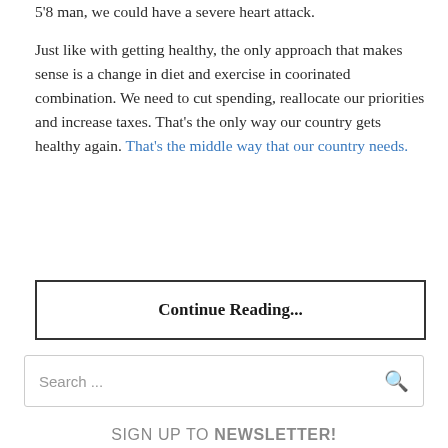5'8 man, we could have a severe heart attack.

Just like with getting healthy, the only approach that makes sense is a change in diet and exercise in coorinated combination. We need to cut spending, reallocate our priorities and increase taxes. That's the only way our country gets healthy again. That's the middle way that our country needs.
Continue Reading...
Search ...
SIGN UP TO NEWSLETTER!